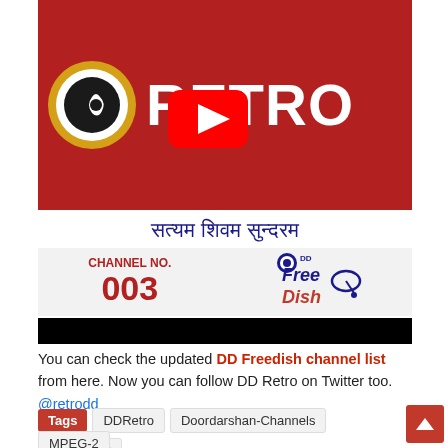[Figure (screenshot): YouTube video thumbnail for DD Retro channel. Shows a red banner with Doordarshan logo and 'RETRO' text in white, Hindi text 'सत्यम शिवम सुन्दरम', channel number 003 on DD Free Dish, and a YouTube play button overlay. Below is a black bar.]
You can check the updated DD Freedish channel list from here. Now you can follow DD Retro on Twitter too. @retrodd
Tags: DDRetro | Doordarshan-Channels | Hindi-GEC | MPEG-2